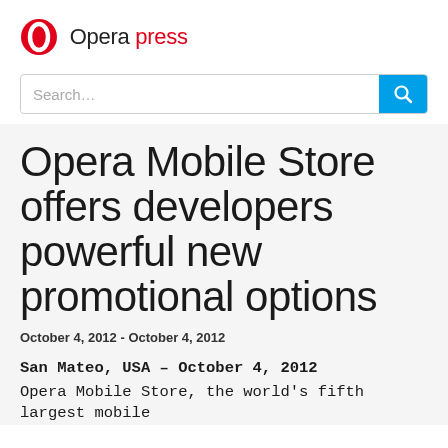Opera press
Search...
Opera Mobile Store offers developers powerful new promotional options
October 4, 2012 - October 4, 2012
San Mateo, USA – October 4, 2012
Opera Mobile Store, the world's fifth largest mobile